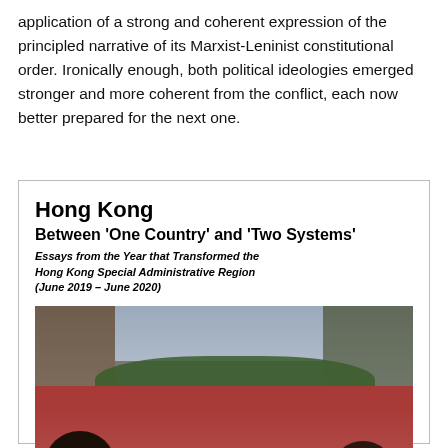application of a strong and coherent expression of the principled narrative of its Marxist-Leninist constitutional order. Ironically enough, both political ideologies emerged stronger and more coherent from the conflict, each now better prepared for the next one.
[Figure (photo): Book cover of 'Hong Kong Between One Country and Two Systems: Essays from the Year that Transformed the Hong Kong Special Administrative Region (June 2019 – June 2020)', showing a large protest crowd filling a street in Hong Kong with buildings and palm trees visible.]